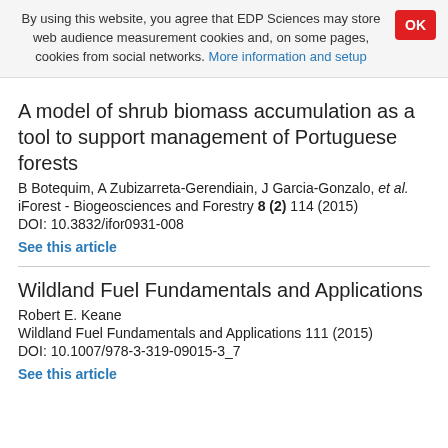By using this website, you agree that EDP Sciences may store web audience measurement cookies and, on some pages, cookies from social networks. More information and setup
A model of shrub biomass accumulation as a tool to support management of Portuguese forests
B Botequim, A Zubizarreta-Gerendiain, J Garcia-Gonzalo, et al.
iForest - Biogeosciences and Forestry 8 (2) 114 (2015)
DOI: 10.3832/ifor0931-008
See this article
Wildland Fuel Fundamentals and Applications
Robert E. Keane
Wildland Fuel Fundamentals and Applications 111 (2015)
DOI: 10.1007/978-3-319-09015-3_7
See this article